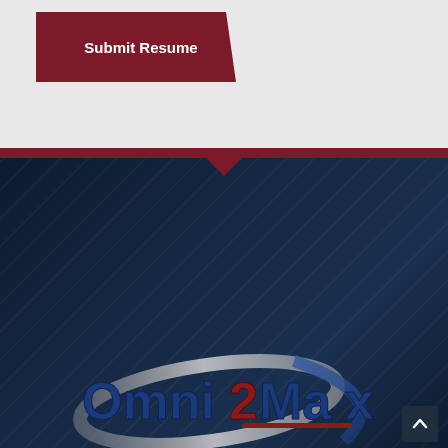[Figure (logo): Submit Resume button - dark red/maroon trapezoid shape with white bold text 'Submit Resume']
[Figure (logo): Omni 2 Max company logo with stylized text on dark navy background, swoosh graphic elements in silver and blue, with red '2' numeral]
A Professional Technical Service Firm
(619) 269-1663
info@omni2max.com
7777 Alvarado Rd #615
La Mesa, CA 91942